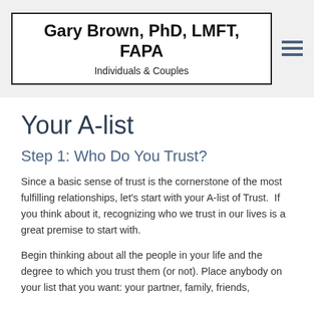Gary Brown, PhD, LMFT, FAPA
Individuals & Couples
Your A-list
Step 1: Who Do You Trust?
Since a basic sense of trust is the cornerstone of the most fulfilling relationships, let’s start with your A-list of Trust.  If you think about it, recognizing who we trust in our lives is a great premise to start with.
Begin thinking about all the people in your life and the degree to which you trust them (or not). Place anybody on your list that you want: your partner, family, friends,